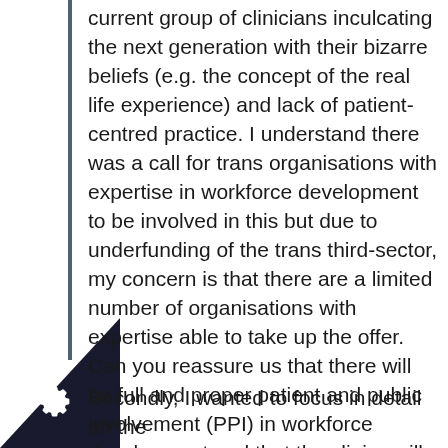current group of clinicians inculcating the next generation with their bizarre beliefs (e.g. the concept of the real life experience) and lack of patient-centred practice. I understand there was a call for trans organisations with expertise in workforce development to be involved in this but due to underfunding of the trans third-sector, my concern is that there are a limited number of organisations with expertise able to take up the offer. Can you reassure us that there will be full and proper patient and public involvement (PPI) in workforce development and that the clinics will not be allowed to dominate? Further detail on how PPI will be done for this exercise would be welcome.
Secondly, I wanted to focus in detail on the